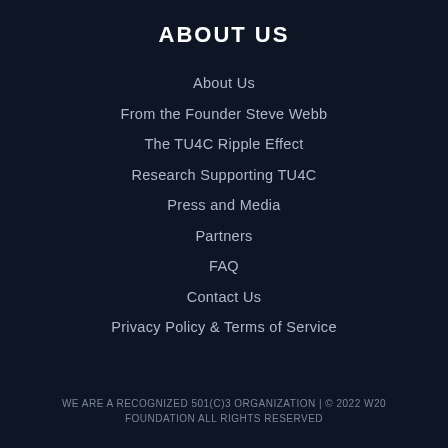ABOUT US
About Us
From the Founder Steve Webb
The TU4C Ripple Effect
Research Supporting TU4C
Press and Media
Partners
FAQ
Contact Us
Privacy Policy & Terms of Service
WE ARE A RECOGNIZED 501(C)3 ORGANIZATION | © 2022 W20 FOUNDATION ALL RIGHTS RESERVED